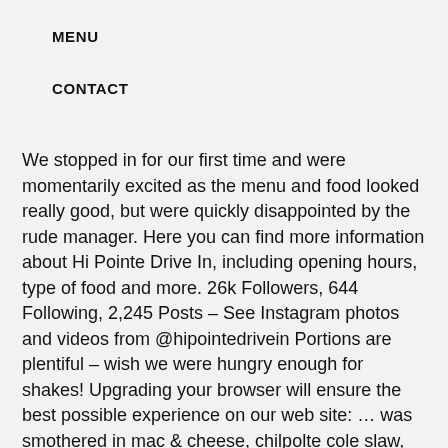MENU
CONTACT
We stopped in for our first time and were momentarily excited as the menu and food looked really good, but were quickly disappointed by the rude manager. Here you can find more information about Hi Pointe Drive In, including opening hours, type of food and more. 26k Followers, 644 Following, 2,245 Posts – See Instagram photos and videos from @hipointedrivein Portions are plentiful – wish we were hungry enough for shakes! Upgrading your browser will ensure the best possible experience on our web site: … was smothered in mac & cheese, chilpolte cole slaw, Laurie couldnât even finish her sandwich much less the, 1033 McCausland Ave, Saint Louis, MO 63117-1924. This Sun., March 29, Mike Johnson and the team behind Sugarfire Smoke House will host another fundraiser to benefit the Gateway Resilience Fund to support furloughed restaurant workers…l. Seating is casual and pleasant. They're awesome but